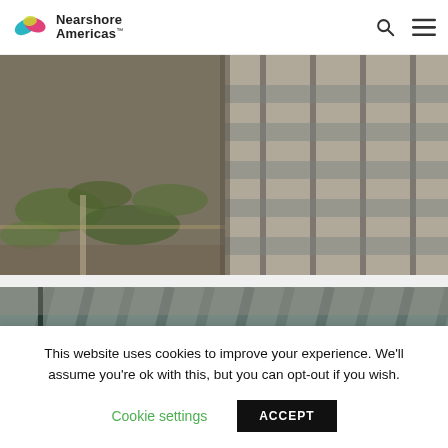Nearshore Americas
[Figure (photo): Aerial or elevated view of a modern office building with landscaped gardens and greenery below]
[Figure (photo): Interior architectural photo with wooden ceiling slats, overlaid with large white text reading 'Wipro Names Wagner Jesus Brazil Managing Director']
This website uses cookies to improve your experience. We'll assume you're ok with this, but you can opt-out if you wish.
Cookie settings
ACCEPT